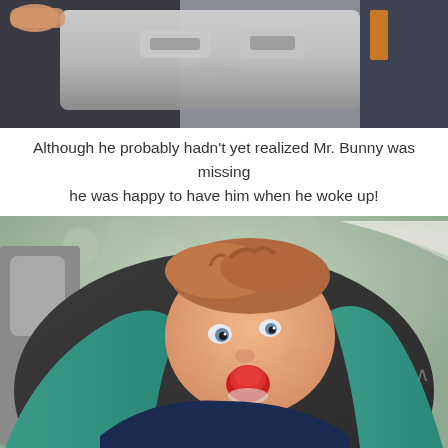[Figure (photo): Close-up photo of a baby car seat buckle/harness mechanism, gray plastic, with hands visible at top and blue fabric/seat in background]
Although he probably hadn't yet realized Mr. Bunny was missing he was happy to have him when he woke up!
[Figure (photo): Photo of a young baby/toddler with reddish-brown hair sitting in a dark gray infant car seat with teal/green trim, sucking on a red pacifier, looking at the camera with blue eyes]